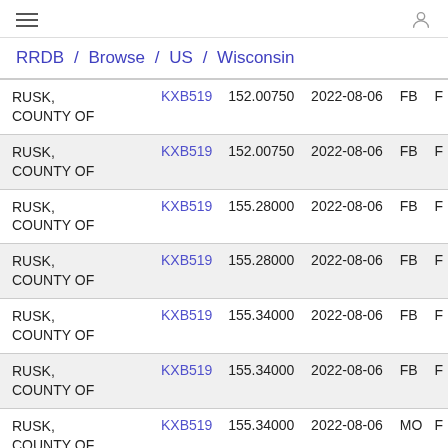≡  (user icon)
RRDB / Browse / US / Wisconsin
| Licensee | Callsign | Frequency | Date | Mode |  |
| --- | --- | --- | --- | --- | --- |
| RUSK, COUNTY OF | KXB519 | 152.00750 | 2022-08-06 | FB | F |
| RUSK, COUNTY OF | KXB519 | 152.00750 | 2022-08-06 | FB | F |
| RUSK, COUNTY OF | KXB519 | 155.28000 | 2022-08-06 | FB | F |
| RUSK, COUNTY OF | KXB519 | 155.28000 | 2022-08-06 | FB | F |
| RUSK, COUNTY OF | KXB519 | 155.34000 | 2022-08-06 | FB | F |
| RUSK, COUNTY OF | KXB519 | 155.34000 | 2022-08-06 | FB | F |
| RUSK, COUNTY OF | KXB519 | 155.34000 | 2022-08-06 | MO | F |